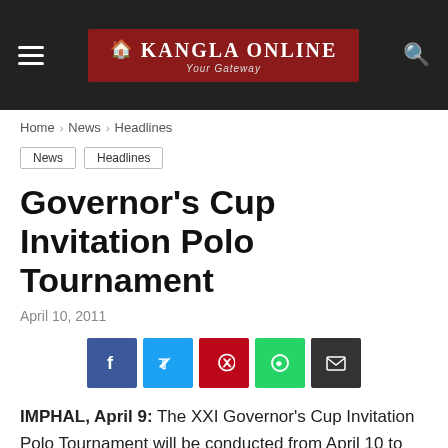Kangla Online — Your Gateway
Home › News › Headlines
News
Headlines
Governor's Cup Invitation Polo Tournament
April 10, 2011
[Figure (infographic): Social sharing buttons: Facebook, Twitter, Pinterest, WhatsApp, Email]
IMPHAL, April 9: The XXI Governor's Cup Invitation Polo Tournament will be conducted from April 10 to April 15 organised by the Manipur Horse Riding and Polo Association at Mapal Kangjeibung. Eight best polo teams from the recently concluded 2nd 57 Mountain Division Polo Tournament will